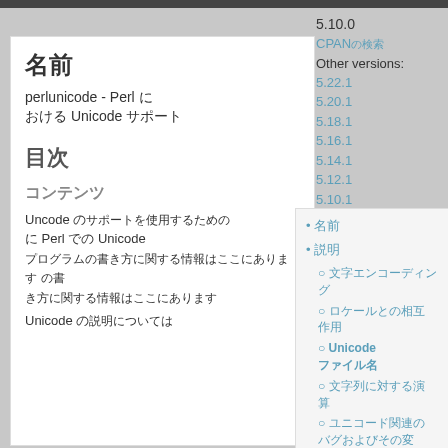5.10.0
CPANの検索
Other versions:
5.22.1
5.20.1
5.18.1
5.16.1
5.14.1
5.12.1
5.10.1
5.22.1 ▼  diff
Source
検索(sf.jp)
ダウンロード
ドキュメント/バグ
名前
perlunicode - Perl における Unicode サポート
目次
コンテンツ
名前
説明
文字エンコーディング
ロケールとの相互作用
Unicode とファイル名
文字列に対する演算
ユニコード関連のバグおよびその変更点
Uncode のサポートを使用するための、Perl での Unicode プログラムの書き方に関する情報はここにあります Unicode 文字 のすべて
Unicode の説明については